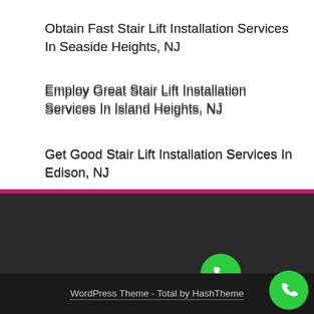Obtain Fast Stair Lift Installation Services In Seaside Heights, NJ
Employ Great Stair Lift Installation Services In Island Heights, NJ
Get Good Stair Lift Installation Services In Edison, NJ
Get Top Stair Lift Installation Services In Haddon Heights, NJ
WordPress Theme - Total by HashTheme